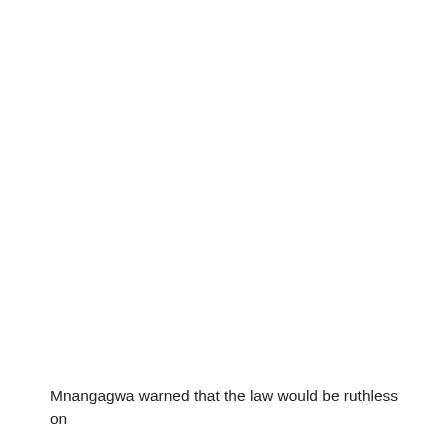Mnangagwa warned that the law would be ruthless on